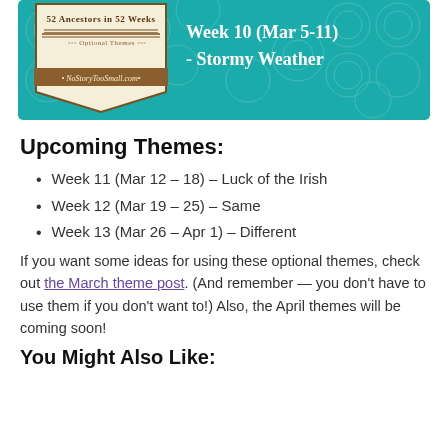[Figure (illustration): Banner image for '52 Ancestors in 52 Weeks' challenge. Teal background with circle pattern. Left side has a cream/brown badge with text '52 Ancestors in 52 Weeks' and 'Optional Themes' and 'NoStoryTooSmall.com' ribbon. Right side shows white text 'Week 10 (Mar 5-11) - Stormy Weather'.]
Upcoming Themes:
Week 11 (Mar 12 – 18) – Luck of the Irish
Week 12 (Mar 19 – 25) – Same
Week 13 (Mar 26 – Apr 1) – Different
If you want some ideas for using these optional themes, check out the March theme post. (And remember — you don't have to use them if you don't want to!) Also, the April themes will be coming soon!
You Might Also Like: